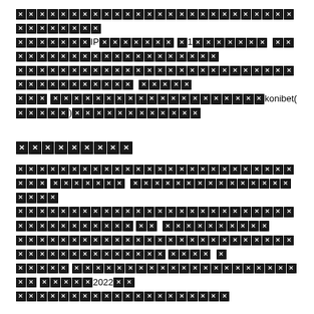[redacted text block with IP reference and redacted characters] konibet([redacted])
[redacted section header]
[redacted paragraph with redacted characters and 2022 reference]
[redacted paragraph with GPWA, RTP references]